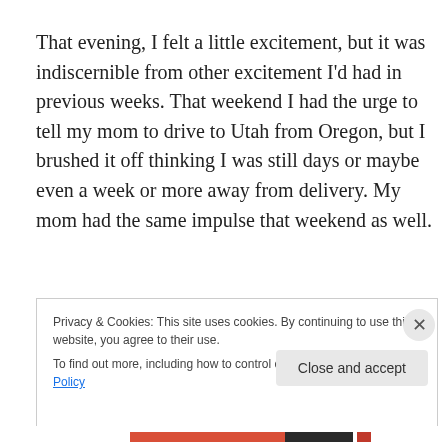That evening, I felt a little excitement, but it was indiscernible from other excitement I'd had in previous weeks. That weekend I had the urge to tell my mom to drive to Utah from Oregon, but I brushed it off thinking I was still days or maybe even a week or more away from delivery. My mom had the same impulse that weekend as well.
Privacy & Cookies: This site uses cookies. By continuing to use this website, you agree to their use.
To find out more, including how to control cookies, see here: Cookie Policy
Close and accept